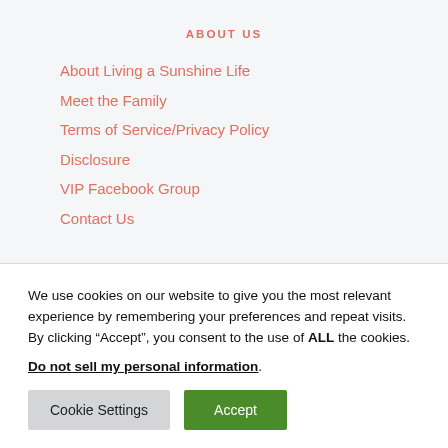ABOUT US
About Living a Sunshine Life
Meet the Family
Terms of Service/Privacy Policy
Disclosure
VIP Facebook Group
Contact Us
We use cookies on our website to give you the most relevant experience by remembering your preferences and repeat visits. By clicking “Accept”, you consent to the use of ALL the cookies.
Do not sell my personal information.
Cookie Settings   Accept